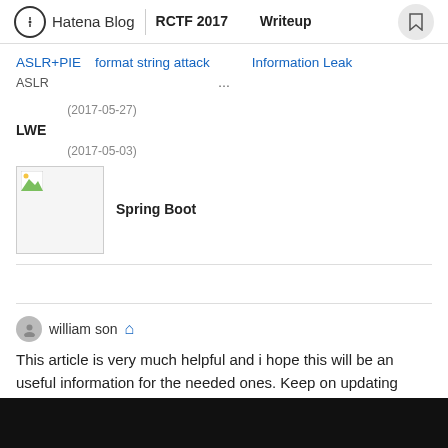Hatena Blog | RCTF 2017 　　Writeup
ASLR+PIE　format string attack　　　Information Leak
ASLR　　　　　　　　　　　　　　　　　　　　…
(2017-05-27)
LWE
(2017-05-03)
[Figure (photo): Thumbnail image (broken) for Spring Boot article]
Spring Boot
william son
This article is very much helpful and i hope this will be an useful information for the needed ones. Keep on updating these kinds of informative things...